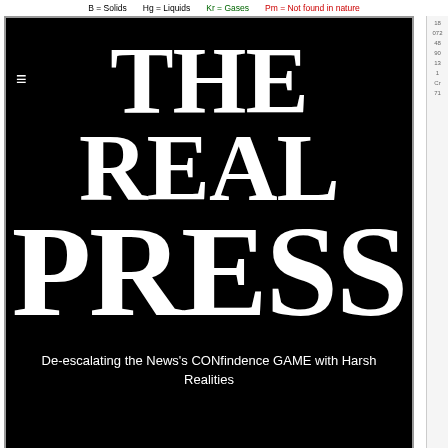B = Solids   Hg = Liquids   Kr = Gases   Pm = Not found in nature
THE REAL PRESS
De-escalating the News's CONfindence GAME with Harsh Realities
[Figure (screenshot): Three side-by-side screenshots of www.WeTheMany.space website showing social media interface and flags image]
[Figure (screenshot): English language selector button and blue banner at bottom of page]